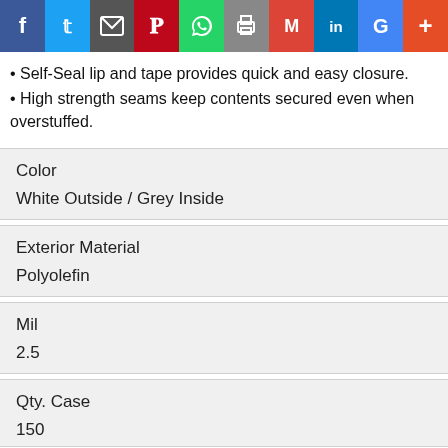[Figure (other): Social media sharing bar with icons: Facebook, Twitter, Email/Share, Pinterest, WhatsApp, Print, Gmail, LinkedIn, Google, Plus]
Self-Seal lip and tape provides quick and easy closure.
High strength seams keep contents secured even when overstuffed.
| Color | White Outside / Grey Inside |
| Exterior Material | Polyolefin |
| Mil | 2.5 |
| Qty. Case | 150 |